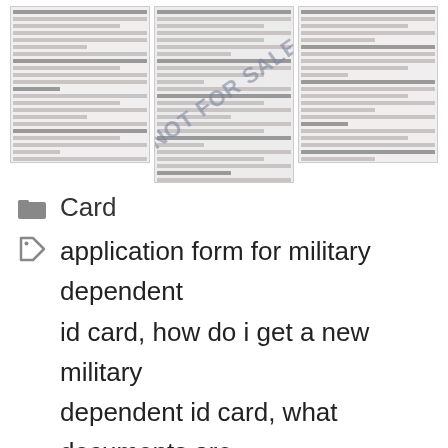[Figure (screenshot): Three thumbnail images of military ID card application forms. The center form has a diagonal 'NOT FOR SALE' watermark stamp overlaid.]
Card
application form for military dependent id card, how do i get a new military dependent id card, what documents are needed for a dependent military id, what documents are needed to renew military dependent id card, what is a military